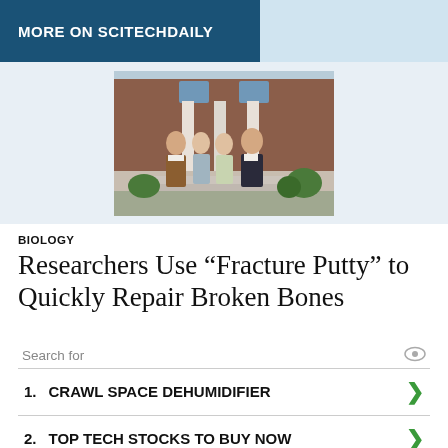MORE ON SCITECHDAILY
[Figure (photo): Four researchers (two men and two women) standing in front of a building with brick facade and columns]
BIOLOGY
Researchers Use “Fracture Putty” to Quickly Repair Broken Bones
Search for
1. CRAWL SPACE DEHUMIDIFIER
2. TOP TECH STOCKS TO BUY NOW
Ad | Cellphone Guru